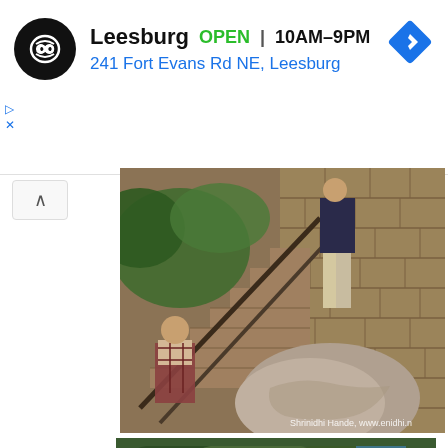[Figure (screenshot): Ad banner: Leesburg store, OPEN 10AM-9PM, 241 Fort Evans Rd NE Leesburg, with loop logo and navigation arrow icon]
[Figure (photo): Photo of people climbing stone staircase with metal railing and large boulder, watermark: Shrinidhi Hande, www.enidhi.n...]
[Figure (photo): Photo of outdoor area with trees and a building with blue roof in the background]